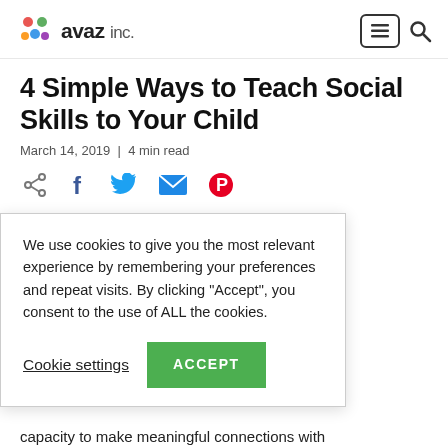avaz inc.
4 Simple Ways to Teach Social Skills to Your Child
March 14, 2019  |  4 min read
[Figure (infographic): Social share icons row: share, Facebook, Twitter, email, Pinterest]
We use cookies to give you the most relevant experience by remembering your preferences and repeat visits. By clicking "Accept", you consent to the use of ALL the cookies.
...Social Skills, of the most se skills are g in society. m a very e for a lifetime g the capacity to make meaningful connections with
Cookie settings   ACCEPT